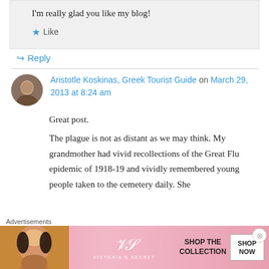I'm really glad you like my blog!
★ Like
↪ Reply
Aristotle Koskinas, Greek Tourist Guide on March 29, 2013 at 8:24 am
Great post.
The plague is not as distant as we may think. My grandmother had vivid recollections of the Great Flu epidemic of 1918-19 and vividly remembered young people taken to the cemetery daily. She
Advertisements
[Figure (photo): Victoria's Secret advertisement banner with a model and pink background, showing 'SHOP THE COLLECTION' and 'SHOP NOW' button]